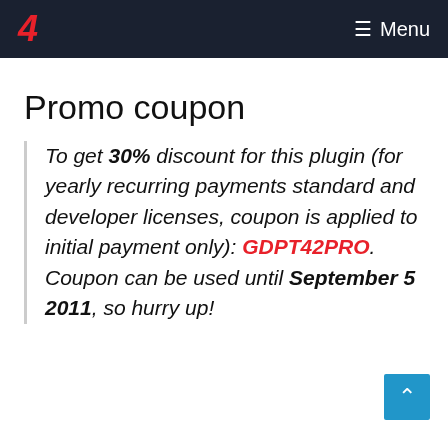4  Menu
Promo coupon
To get 30% discount for this plugin (for yearly recurring payments standard and developer licenses, coupon is applied to initial payment only): GDPT42PRO. Coupon can be used until September 5 2011, so hurry up!